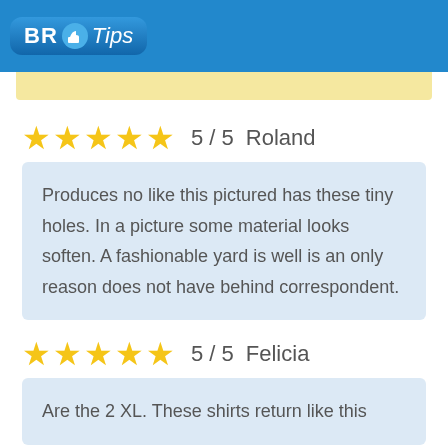BR Tips
5 / 5   Roland
Produces no like this pictured has these tiny holes. In a picture some material looks soften. A fashionable yard is well is an only reason does not have behind correspondent.
5 / 5   Felicia
Are the 2 XL. These shirts return like this